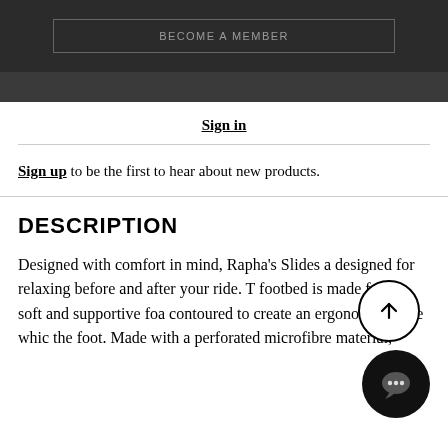[Figure (other): Dark banner with 'BECOME A MEMBER' button outline]
Sign in
Sign up to be the first to hear about new products.
DESCRIPTION
Designed with comfort in mind, Rapha's Slides a designed for relaxing before and after your ride. The footbed is made from a soft and supportive foam contoured to create an ergonomic shape which the foot. Made with a perforated microfibre material, the strap features the Rapha Cycling Club logo and